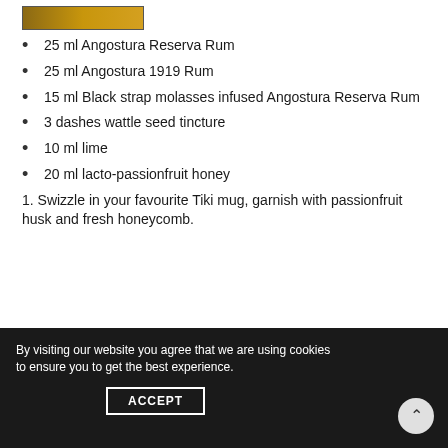[Figure (photo): Partial image of food/drink at top of page]
25 ml Angostura Reserva Rum
25 ml Angostura 1919 Rum
15 ml Black strap molasses infused Angostura Reserva Rum
3 dashes wattle seed tincture
10 ml lime
20 ml lacto-passionfruit honey
1. Swizzle in your favourite Tiki mug, garnish with passionfruit husk and fresh honeycomb.
By visiting our website you agree that we are using cookies to ensure you to get the best experience.